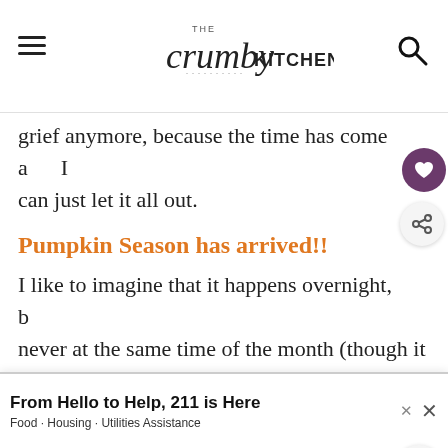The Crumby Kitchen
grief anymore, because the time has come and I can just let it all out.
Pumpkin Season has arrived!!
I like to imagine that it happens overnight, but never at the same time of the month (though it usually coincides with the arrival of PSLs and cinnamon-scented pinecones.) A little roly-poly fairy, a la Tinkerbell, dressed all in orange flies around the world with her leaf-tipped wand sprinkling...
[Figure (screenshot): Advertisement banner: 'From Hello to Help, 211 is Here' with subtitle 'Food · Housing · Utilities Assistance']